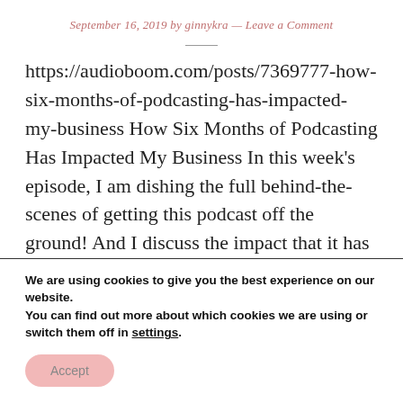September 16, 2019 by ginnykra — Leave a Comment
https://audioboom.com/posts/7369777-how-six-months-of-podcasting-has-impacted-my-business How Six Months of Podcasting Has Impacted My Business In this week's episode, I am dishing the full behind-the-scenes of getting this podcast off the ground! And I discuss the impact that it has ...
We are using cookies to give you the best experience on our website.
You can find out more about which cookies we are using or switch them off in settings.
Accept